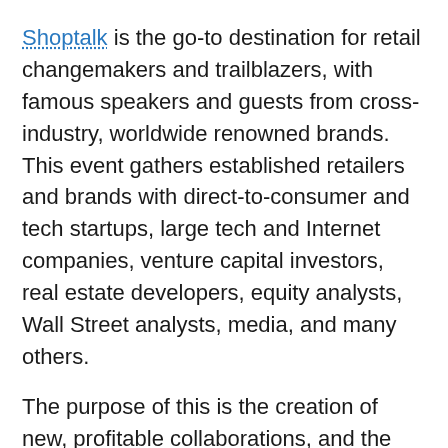Shoptalk is the go-to destination for retail changemakers and trailblazers, with famous speakers and guests from cross-industry, worldwide renowned brands. This event gathers established retailers and brands with direct-to-consumer and tech startups, large tech and Internet companies, venture capital investors, real estate developers, equity analysts, Wall Street analysts, media, and many others.
The purpose of this is the creation of new, profitable collaborations, and the education of the audience on the latest happenings, paving the way for the implementation of new technologies. With all that in mind, Shoptalk 2022 is the place to be this summer,